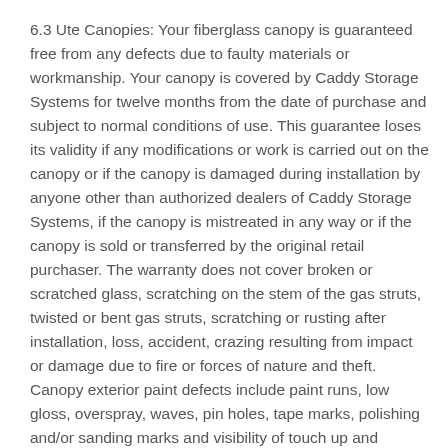6.3 Ute Canopies: Your fiberglass canopy is guaranteed free from any defects due to faulty materials or workmanship. Your canopy is covered by Caddy Storage Systems for twelve months from the date of purchase and subject to normal conditions of use. This guarantee loses its validity if any modifications or work is carried out on the canopy or if the canopy is damaged during installation by anyone other than authorized dealers of Caddy Storage Systems, if the canopy is mistreated in any way or if the canopy is sold or transferred by the original retail purchaser. The warranty does not cover broken or scratched glass, scratching on the stem of the gas struts, twisted or bent gas struts, scratching or rusting after installation, loss, accident, crazing resulting from impact or damage due to fire or forces of nature and theft. Canopy exterior paint defects include paint runs, low gloss, overspray, waves, pin holes, tape marks, polishing and/or sanding marks and visibility of touch up and